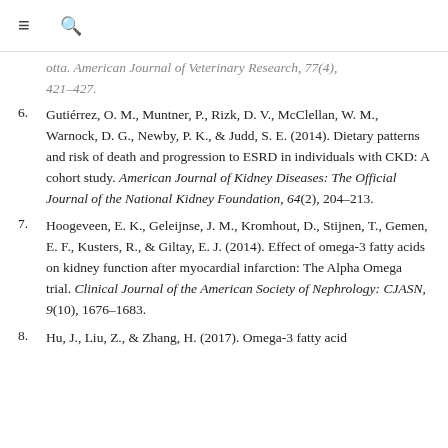≡  🔍
(continuation) ...otta. American Journal of Veterinary Research, 77(4), 421–427.
6. Gutiérrez, O. M., Muntner, P., Rizk, D. V., McClellan, W. M., Warnock, D. G., Newby, P. K., & Judd, S. E. (2014). Dietary patterns and risk of death and progression to ESRD in individuals with CKD: A cohort study. American Journal of Kidney Diseases: The Official Journal of the National Kidney Foundation, 64(2), 204–213.
7. Hoogeveen, E. K., Geleijnse, J. M., Kromhout, D., Stijnen, T., Gemen, E. F., Kusters, R., & Giltay, E. J. (2014). Effect of omega-3 fatty acids on kidney function after myocardial infarction: The Alpha Omega trial. Clinical Journal of the American Society of Nephrology: CJASN, 9(10), 1676–1683.
8. Hu, J., Liu, Z., & Zhang, H. (2017). Omega-3 fatty acid